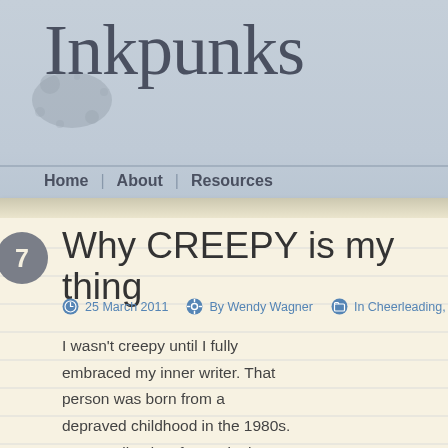Inkpunks
Home | About | Resources
Why CREEPY is my thing
25 March 2011   By Wendy Wagner   In Cheerleading, Ide
I wasn't creepy until I fully embraced my inner writer. That person was born from a depraved childhood in the 1980s. See, we lived so far out in the
[Figure (photo): Blurred photo of small figurines/toys on a shelf, warm yellowish tones]